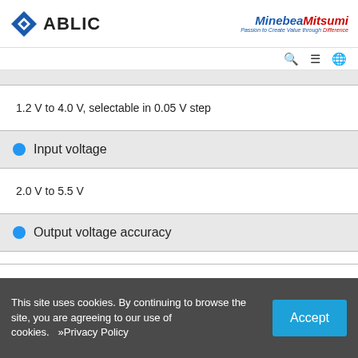ABLIC | MinebeaMitsumi — Passion to Create Value through Difference
1.2 V to 4.0 V, selectable in 0.05 V step
Input voltage
2.0 V to 5.5 V
Output voltage accuracy
This site uses cookies. By continuing to browse the site, you are agreeing to our use of cookies.  »Privacy Policy